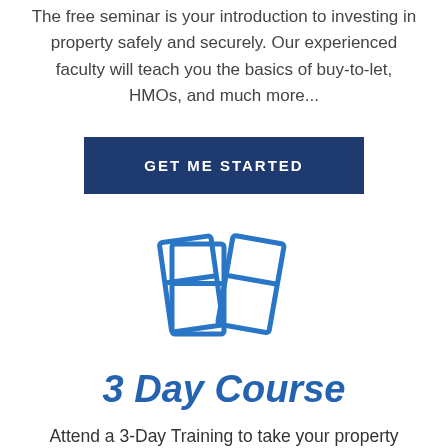The free seminar is your introduction to investing in property safely and securely. Our experienced faculty will teach you the basics of buy-to-let, HMOs, and much more...
[Figure (illustration): A blue icon of two binders/folders side by side]
3 Day Course
Attend a 3-Day Training to take your property investing portfolio to the next level. We'll give you the confidence and knowledge to build a strategy that works for you and tach you how to avoid the